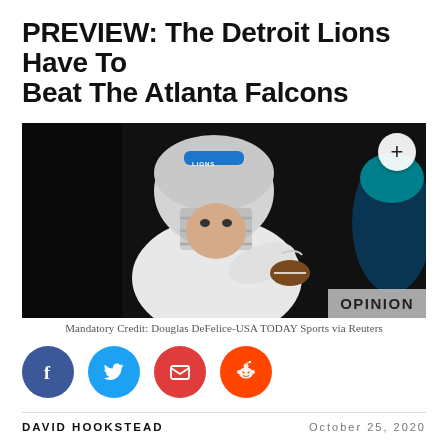PREVIEW: The Detroit Lions Have To Beat The Atlanta Falcons
[Figure (photo): Detroit Lions quarterback in white uniform wearing silver helmet with blue stripe, holding football in throwing position against dark background. An OPINION badge appears in the lower right corner and a plus button in the upper right.]
Mandatory Credit: Douglas DeFelice-USA TODAY Sports via Reuters
Social sharing buttons: Facebook, Twitter, Email, Reddit
DAVID HOOKSTEAD    October 25, 2020